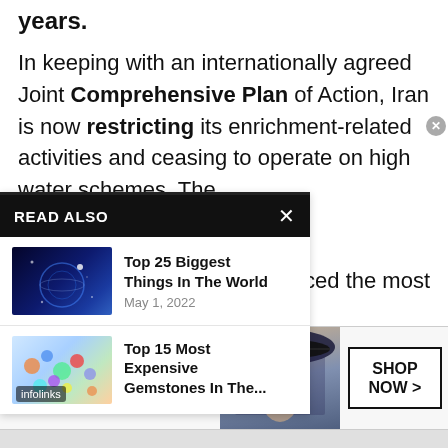years.
In keeping with an internationally agreed Joint Comprehensive Plan of Action, Iran is now restricting its enrichment-related activities and ceasing to operate on high water schemes. The [overlay obscures] uced the most
[Figure (screenshot): READ ALSO overlay panel with two article links: 'Top 25 Biggest Things In The World, May 1, 2022' and 'Top 15 Most Expensive Gemstones In The...' with infolinks badge]
ns, every country in the [world] in the defense of power [compared] to those without these
[Figure (screenshot): Bloomingdales advertisement banner: 'bloomingdales / View Today's Top Deals!' with SHOP NOW > button and woman in hat photo]